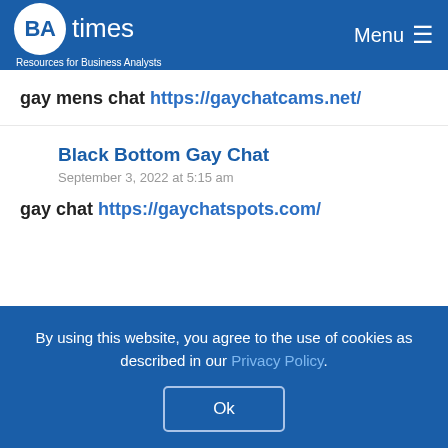BAtimes — Resources for Business Analysts | Menu
gay mens chat https://gaychatcams.net/
Black Bottom Gay Chat
September 3, 2022 at 5:15 am
gay chat https://gaychatspots.com/
By using this website, you agree to the use of cookies as described in our Privacy Policy.